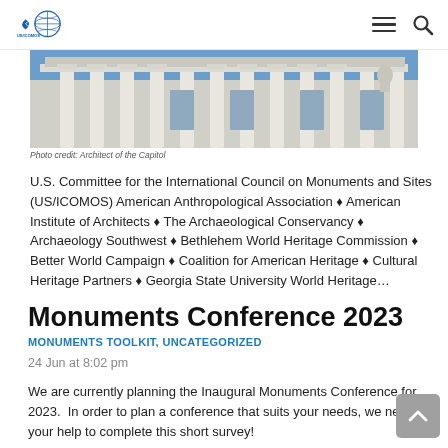US/ICOMOS logo, navigation hamburger menu and search icon
[Figure (photo): Photograph of a classical building with white columns against a blue sky, likely the US Capitol area]
Photo credit: Architect of the Capitol
U.S. Committee for the International Council on Monuments and Sites (US/ICOMOS) American Anthropological Association ♦ American Institute of Architects ♦ The Archaeological Conservancy ♦ Archaeology Southwest ♦ Bethlehem World Heritage Commission ♦ Better World Campaign ♦ Coalition for American Heritage ♦ Cultural Heritage Partners ♦ Georgia State University World Heritage…
Monuments Conference 2023
MONUMENTS TOOLKIT, UNCATEGORIZED
24 Jun at 8:02 pm
We are currently planning the Inaugural Monuments Conference for 2023.  In order to plan a conference that suits your needs, we need your help to complete this short survey!